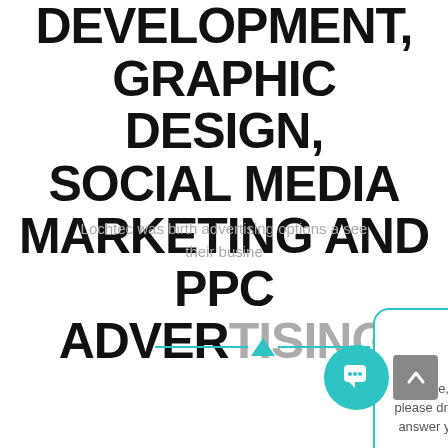DEVELOPMENT, GRAPHIC DESIGN, SOCIAL MEDIA MARKETING AND PPC ADVERTISING
Lochtec was birth… advertising options a… see their busine…
[Figure (screenshot): Chat popup widget with avatar of 'Shawn', teal border, message: 'Hi there, we are here to assist, please drop us a line and we will answer your questions as soon as possible.']
[Figure (other): Teal horizontal divider with upward-pointing triangle in center]
[Figure (other): Teal circular chat icon button and gray scroll-to-top button]